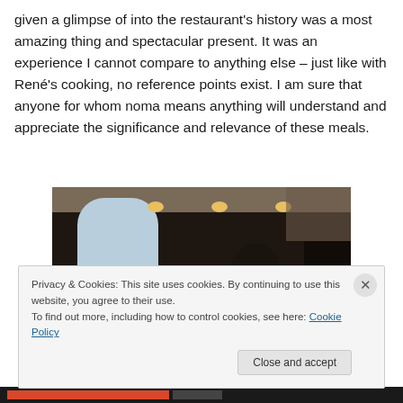given a glimpse of into the restaurant's history was a most amazing thing and spectacular present. It was an experience I cannot compare to anything else – just like with René's cooking, no reference points exist. I am sure that anyone for whom noma means anything will understand and appreciate the significance and relevance of these meals.
[Figure (photo): Dark interior photo of a restaurant or boat cabin, with arched windows letting in light, ceiling lights glowing amber, and a person silhouetted in the foreground.]
Privacy & Cookies: This site uses cookies. By continuing to use this website, you agree to their use.
To find out more, including how to control cookies, see here: Cookie Policy
Close and accept